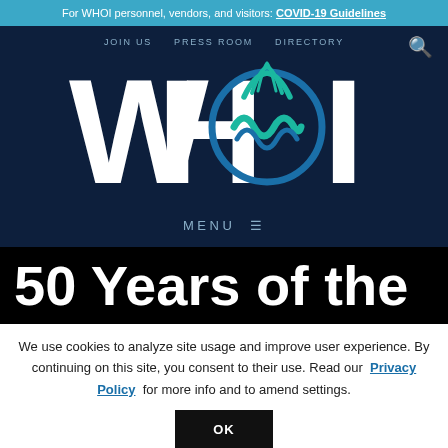For WHOI personnel, vendors, and visitors: COVID-19 Guidelines
JOIN US   PRESS ROOM   DIRECTORY
[Figure (logo): WHOI logo — large white letters W H O I on dark navy background, with the O replaced by a stylized wave/drop icon in teal and blue]
MENU ≡
50 Years of the
We use cookies to analyze site usage and improve user experience. By continuing on this site, you consent to their use. Read our Privacy Policy for more info and to amend settings.
OK